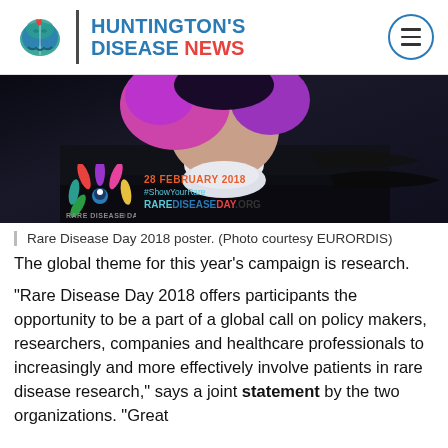HUNTINGTON'S DISEASE NEWS
[Figure (photo): Rare Disease Day 2018 promotional image showing a person with pink/purple hair in dark clothing, overlaid with the Rare Disease Day logo, date '28 FEBRUARY 2018', '#ShowYourRare', and 'RAREDISEASEDAY.ORG']
Rare Disease Day 2018 poster. (Photo courtesy EURORDIS)
The global theme for this year's campaign is research.
"Rare Disease Day 2018 offers participants the opportunity to be a part of a global call on policy makers, researchers, companies and healthcare professionals to increasingly and more effectively involve patients in rare disease research," says a joint statement by the two organizations. "Great